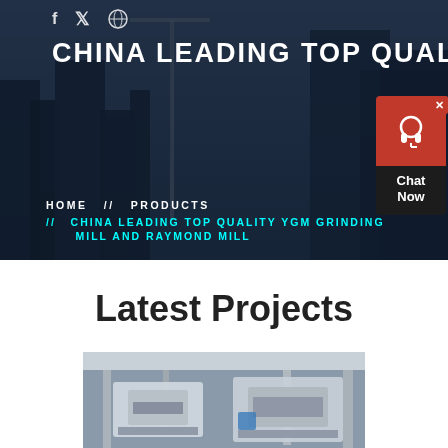CHINA LEADING TOP QUALITY Y...
HOME // PRODUCTS // CHINA LEADING TOP QUALITY YGM GRINDING MILL AND RAYMOND MILL
[Figure (screenshot): Chat Now widget with headset icon, red background, dark text box, and close button]
Latest Projects
[Figure (photo): Industrial equipment photo showing machinery in a large facility]